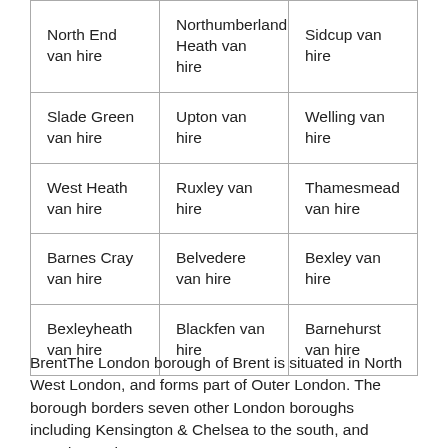| North End van hire | Northumberland Heath van hire | Sidcup van hire |
| Slade Green van hire | Upton van hire | Welling van hire |
| West Heath van hire | Ruxley van hire | Thamesmead van hire |
| Barnes Cray van hire | Belvedere van hire | Bexley van hire |
| Bexleyheath van hire | Blackfen van hire | Barnehurst van hire |
BrentThe London borough of Brent is situated in North West London, and forms part of Outer London. The borough borders seven other London boroughs including Kensington & Chelsea to the south, and Camden to the